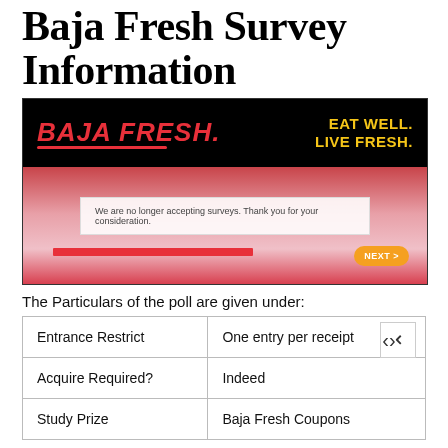Baja Fresh Survey Information
[Figure (screenshot): Screenshot of Baja Fresh survey website showing the Baja Fresh logo in red italic text on black background with 'EAT WELL. LIVE FRESH.' in yellow on the right. Below is a message 'We are no longer accepting surveys. Thank you for your consideration.' with a red progress bar and an orange NEXT button.]
The Particulars of the poll are given under:
| Entrance Restrict | One entry per receipt |
| Acquire Required? | Indeed |
| Study Prize | Baja Fresh Coupons |